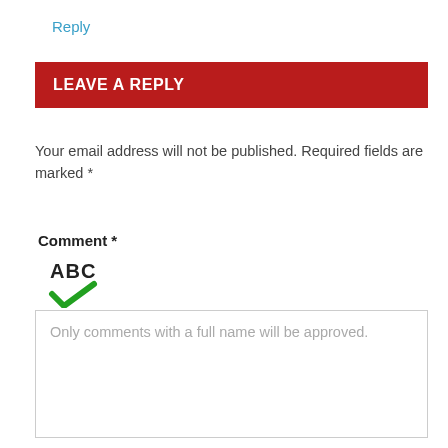Reply
LEAVE A REPLY
Your email address will not be published. Required fields are marked *
Comment *
[Figure (other): ABC spellcheck icon with green checkmark]
Only comments with a full name will be approved.